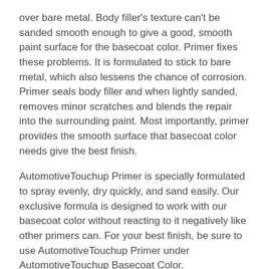over bare metal. Body filler's texture can't be sanded smooth enough to give a good, smooth paint surface for the basecoat color. Primer fixes these problems. It is formulated to stick to bare metal, which also lessens the chance of corrosion. Primer seals body filler and when lightly sanded, removes minor scratches and blends the repair into the surrounding paint. Most importantly, primer provides the smooth surface that basecoat color needs give the best finish.
AutomotiveTouchup Primer is specially formulated to spray evenly, dry quickly, and sand easily. Our exclusive formula is designed to work with our basecoat color without reacting to it negatively like other primers can. For your best finish, be sure to use AutomotiveTouchup Primer under AutomotiveTouchup Basecoat Color.
For more information, see the ready-to-spray directions for use with this product. We also have another page with help for sprayables.